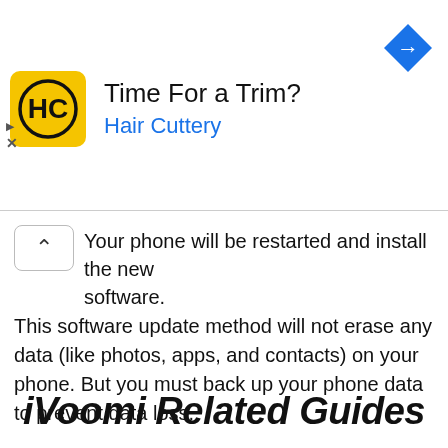[Figure (screenshot): Advertisement banner for Hair Cuttery: logo (HC in yellow square), title 'Time For a Trim?', subtitle 'Hair Cuttery' in blue, and a blue navigation arrow icon on the right. Ad controls (play/close) on the left edge.]
Your phone will be restarted and install the new software.
This software update method will not erase any data (like photos, apps, and contacts) on your phone. But you must back up your phone data to prevent data loss.
iVoomi Related Guides